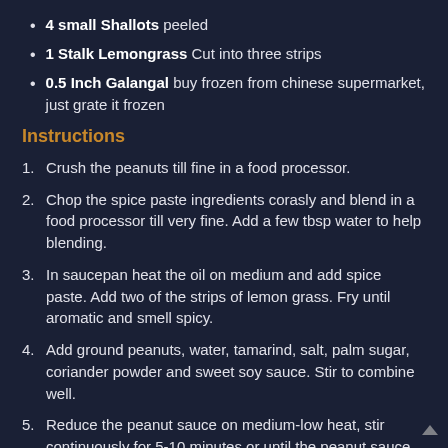4 small Shallots peeled
1 Stalk Lemongrass Cut into three strips
0.5 Inch Galangal buy frozen from chinese supermarket, just grate it frozen
Instructions
1. Crush the peanuts till fine in a food processor.
2. Chop the spice paste ingredients corasly and blend in a food processor till very fine. Add a few tbsp water to help blending.
3. In saucepan heat the oil on medium and add spice paste. Add two of the strips of lemon grass. Fry until aromatic and smell spicy.
4. Add ground peanuts, water, tamarind, salt, palm sugar, coriander powder and sweet soy sauce. Stir to combine well.
5. Reduce the peanut sauce on medium-low heat, stir continuously for 5-10 minutes or until the peanut sauce thickens to your desired consistency, or until the oil and the peanut sauce separates.